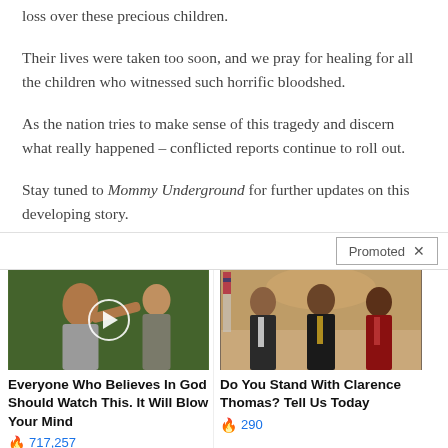loss over these precious children.
Their lives were taken too soon, and we pray for healing for all the children who witnessed such horrific bloodshed.
As the nation tries to make sense of this tragedy and discern what really happened – conflicted reports continue to roll out.
Stay tuned to Mommy Underground for further updates on this developing story.
[Figure (photo): Video thumbnail of a woman pointing, with play button overlay — ad for 'Everyone Who Believes In God Should Watch This. It Will Blow Your Mind']
Everyone Who Believes In God Should Watch This. It Will Blow Your Mind
717,257
[Figure (photo): Photo of three men in suits posing for a photo — ad for 'Do You Stand With Clarence Thomas? Tell Us Today']
Do You Stand With Clarence Thomas? Tell Us Today
290